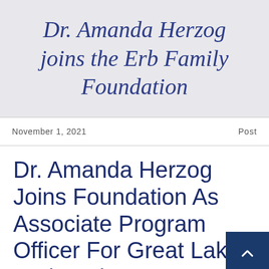Dr. Amanda Herzog joins the Erb Family Foundation
November 1, 2021
Post
Dr. Amanda Herzog Joins Foundation As Associate Program Officer For Great Lakes And Environment